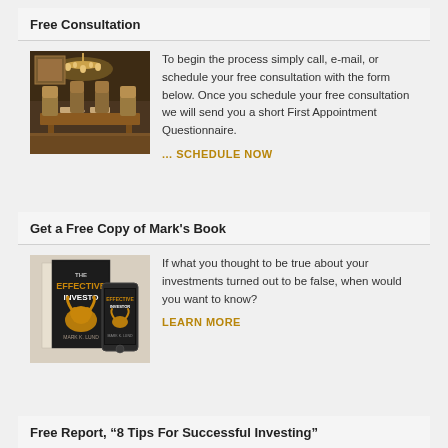Free Consultation
[Figure (photo): Dining room with wooden table, chairs, and chandelier lighting]
To begin the process simply call, e-mail, or schedule your free consultation with the form below. Once you schedule your free consultation we will send you a short First Appointment Questionnaire.
... SCHEDULE NOW
Get a Free Copy of Mark's Book
[Figure (photo): Book cover showing 'The Effective Investor' by Mark K. Lund, with a bull graphic, shown as hardcover and on a phone/tablet]
If what you thought to be true about your investments turned out to be false, when would you want to know?
LEARN MORE
Free Report, “8 Tips For Successful Investing”